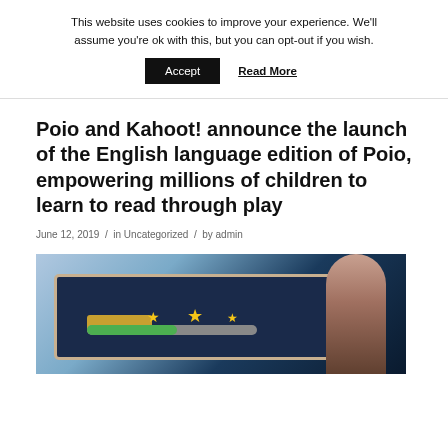This website uses cookies to improve your experience. We'll assume you're ok with this, but you can opt-out if you wish.
Accept  Read More
Poio and Kahoot! announce the launch of the English language edition of Poio, empowering millions of children to learn to read through play
June 12, 2019 / in Uncategorized / by admin
[Figure (photo): Child holding a tablet device showing a learning game with stars and a progress bar on a dark blue screen background]